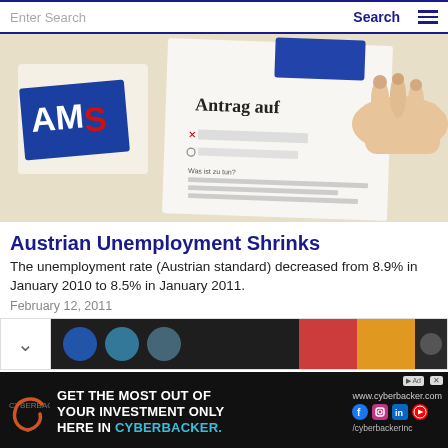Enter Search   Search
[Figure (photo): Photo of AMS (Arbeitsmarktservice) Austrian employment service logo and application form document being filled in]
Austrian Unemployment Shrinks
The unemployment rate (Austrian standard) decreased from 8.9% in January 2010 to 8.5% in January 2011.
February 12, 2011
[Figure (infographic): Partial content strip showing colored circles and red/orange bar graphic elements on dark background]
[Figure (infographic): Advertisement banner: GET THE MOST OUT OF YOUR INVESTMENT ONLY HERE IN CYBERBACKER. www.cyberbacker.com with social media icons and /cyberbackerInc handle]